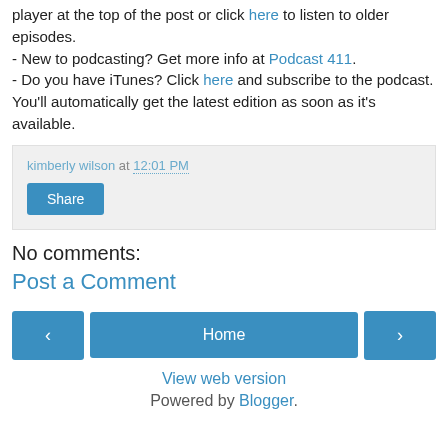player at the top of the post or click here to listen to older episodes.
- New to podcasting? Get more info at Podcast 411.
- Do you have iTunes? Click here and subscribe to the podcast. You'll automatically get the latest edition as soon as it's available.
kimberly wilson at 12:01 PM
Share
No comments:
Post a Comment
‹
Home
›
View web version
Powered by Blogger.